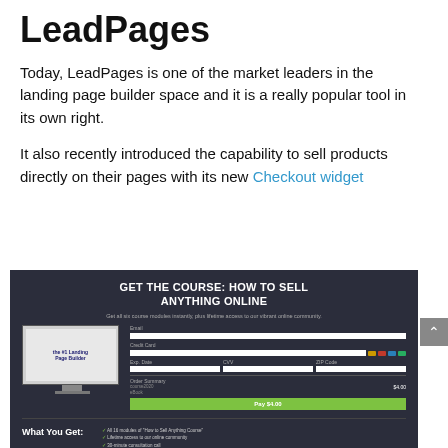LeadPages
Today, LeadPages is one of the market leaders in the landing page builder space and it is a really popular tool in its own right.
It also recently introduced the capability to sell products directly on their pages with its new Checkout widget
[Figure (screenshot): Screenshot of a LeadPages checkout widget page with dark background. Header reads 'GET THE COURSE: HOW TO SELL ANYTHING ONLINE'. Shows a form with email, credit card fields, expiry date, CVV, ZIP code. Order summary and green Pay button. Bottom section shows 'What You Get:' with bullet points.]